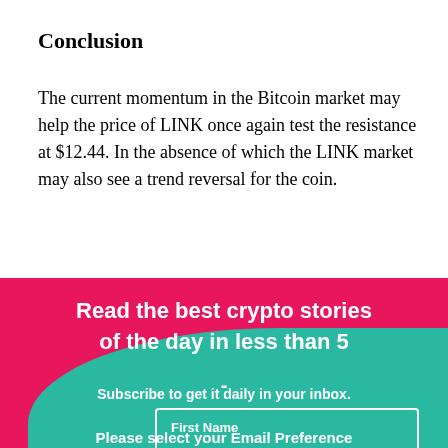Conclusion
The current momentum in the Bitcoin market may help the price of LINK once again test the resistance at $12.44. In the absence of which the LINK market may also see a trend reversal for the coin.
[Figure (infographic): Pink and teal newsletter signup banner reading 'Read the best crypto stories of the day in less than 5 -' with 'Subscribe to get it daily in your inbox.' and form fields for First Name and Email, with 'Please select your Email Preference' text at the bottom.]